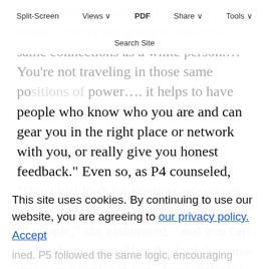Split-Screen  Views  PDF  Share  Tools
Search Site
specifically by people of color. P6 noted, "You're not going to have the same connections as a white person.... You're not traveling in those same positions of power.... it helps to have people who know who you are and can gear you in the right place or network with you, or really give you honest feedback." Even so, as P4 counseled, "Don't just look for mentors or support within your tribe." "I had a diverse tribe of people," she elaborated, "and you can really shoot yourself in the foot, because there are people who are from different places who will support you." White women hold many positions of power, both participants noted.
Second, 7 interviewees stressed the importance of
This site uses cookies. By continuing to use our website, you are agreeing to our privacy policy.
Accept
degree was ... P1 ... P5 followed the same logic, encouraging